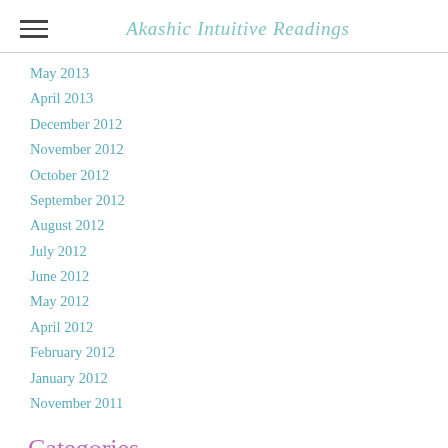Akashic Intuitive Readings
May 2013
April 2013
December 2012
November 2012
October 2012
September 2012
August 2012
July 2012
June 2012
May 2012
April 2012
February 2012
January 2012
November 2011
Categories
All